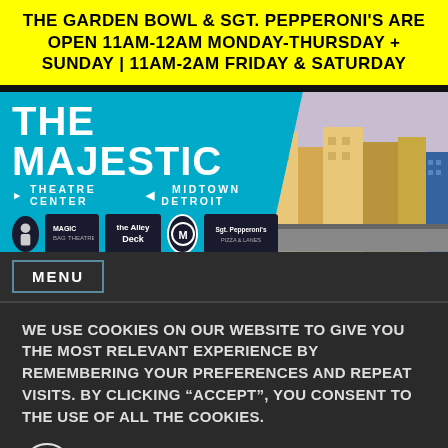THE GARDEN BOWL & SGT. PEPPERONI'S ARE OPEN 11AM-12AM MONDAY-THURSDAY + SUNDAY | 11AM-2AM FRIDAY & SATURDAY
[Figure (logo): The Majestic Theatre Center Midtown Detroit header banner with cyan background, white logo text, venue logos row, address: 4120 Woodward Avenue (313) 833-9700, and a photo of a building on the right]
MENU
WE USE COOKIES ON OUR WEBSITE TO GIVE YOU THE MOST RELEVANT EXPERIENCE BY REMEMBERING YOUR PREFERENCES AND REPEAT VISITS. BY CLICKING "ACCEPT", YOU CONSENT TO THE USE OF ALL THE COOKIES.
COOKIE SETTINGS
ACCEPT